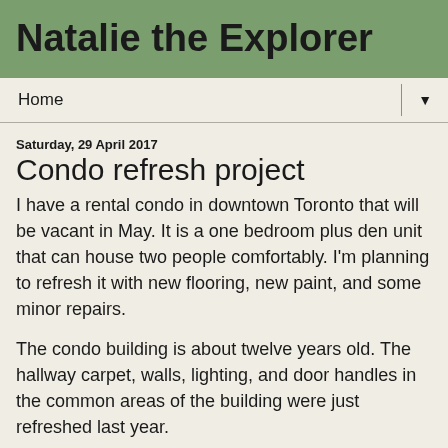Natalie the Explorer
Home
Saturday, 29 April 2017
Condo refresh project
I have a rental condo in downtown Toronto that will be vacant in May. It is a one bedroom plus den unit that can house two people comfortably. I'm planning to refresh it with new flooring, new paint, and some minor repairs.
The condo building is about twelve years old. The hallway carpet, walls, lighting, and door handles in the common areas of the building were just refreshed last year.
My condo unit has hardwood floor in the living room, carpet in the bedroom and den, and tile floors in the kitchen and bathroom. The carpet is due to be replaced. A new coat of